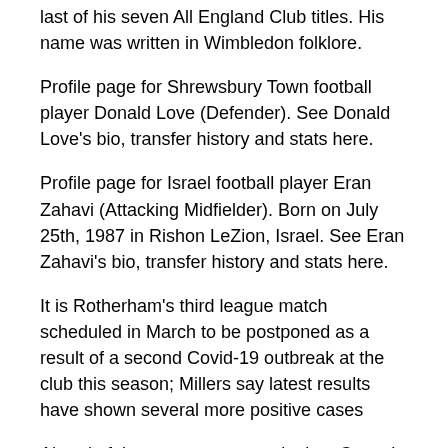last of his seven All England Club titles. His name was written in Wimbledon folklore.
Profile page for Shrewsbury Town football player Donald Love (Defender). See Donald Love's bio, transfer history and stats here.
Profile page for Israel football player Eran Zahavi (Attacking Midfielder). Born on July 25th, 1987 in Rishon LeZion, Israel. See Eran Zahavi's bio, transfer history and stats here.
It is Rotherham's third league match scheduled in March to be postponed as a result of a second Covid-19 outbreak at the club this season; Millers say latest results have shown several more positive cases
Ahead of the new season, we look at Crystal Palace's strengths, weaknesses and what the targets will be for boss Roy Hodgson...
Profile page for Switzerland football player Manuel Akanji (Defender). See Manuel Akanji's bio, transfer history and stats here.